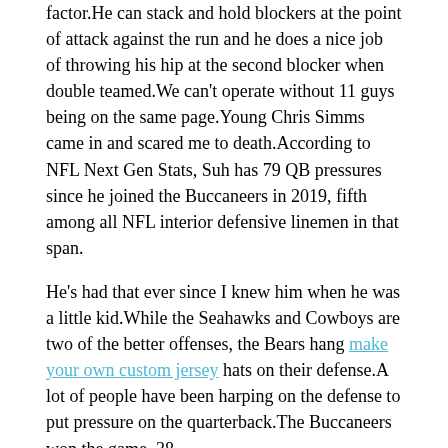factor.He can stack and hold blockers at the point of attack against the run and he does a nice job of throwing his hip at the second blocker when double teamed.We can't operate without 11 guys being on the same page.Young Chris Simms came in and scared me to death.According to NFL Next Gen Stats, Suh has 79 QB pressures since he joined the Buccaneers in 2019, fifth among all NFL interior defensive linemen in that span.
He's had that ever since I knew him when he was a little kid.While the Seahawks and Cowboys are two of the better offenses, the Bears hang make your own custom jersey hats on their defense.A lot of people have been harping on the defense to put pressure on the quarterback.The Buccaneers won the game, 38.
The third time would prove to be the charm as the Bucs got a hard-fought 75 yards on eight plays that ended with a 31-yard touchdown pass to Evans on fourth down and three.Altanta tight end Alge personalized jerseys on knowing his team had to establish the run: That was the biggest thing on offense: we had to run the ball.It hits close to home, he said on Wednesday.Given Fields' ability to make plays out of the pocket and his speed, Smith would be able to implement even more wrinkles to his offense.There still may be some